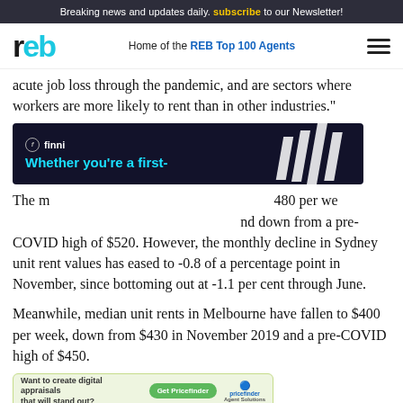Breaking news and updates daily. subscribe to our Newsletter!
reb — Home of the REB Top 100 Agents
acute job loss through the pandemic, and are sectors where workers are more likely to rent than in other industries."
[Figure (other): Finni mortgage advertisement banner: dark background with 'finni' logo and text 'Whether you’re a first-' with white decorative stripes on the right]
The median unit rent in Sydney is currently $480 per week, down from a high in November 2019, and down from a pre-COVID high of $520. However, the monthly decline in Sydney unit rent values has eased to -0.8 of a percentage point in November, since bottoming out at -1.1 per cent through June.
Meanwhile, median unit rents in Melbourne have fallen to $400 per week, down from $430 in November 2019 and a pre-COVID high of $450.
[Figure (other): Pricefinder advertisement: 'Want to create digital appraisals that will stand out? Get Pricefinder — Agent Solutions' on a light green background]
As with Sydney units, the decline in Melbourne rents was driven by stalled overseas migration and acute